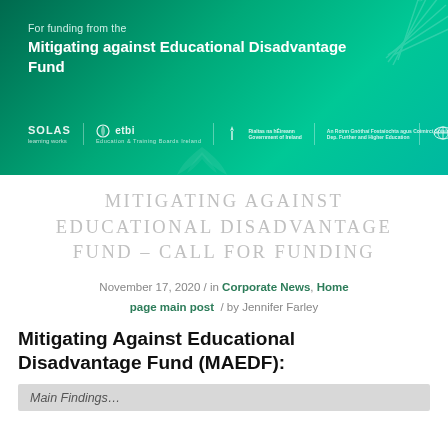[Figure (illustration): Green gradient banner for 'Mitigating against Educational Disadvantage Fund' with SOLAS, etbi and other logos at the bottom]
MITIGATING AGAINST EDUCATIONAL DISADVANTAGE FUND – CALL FOR FUNDING
November 17, 2020 / in Corporate News, Home page main post / by Jennifer Farley
Mitigating Against Educational Disadvantage Fund (MAEDF):
Main Findings...